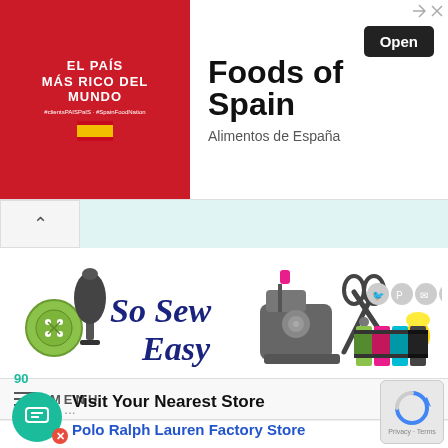[Figure (screenshot): Advertisement banner for 'Foods of Spain / Alimentos de España' with red left panel showing 'El País Más Rico Del Mundo' text and Open button]
[Figure (logo): So Sew Easy website header with sewing-themed illustrations: dress form, button, sewing machine, scissors, thread spools]
MENU
90
Visit Your Nearest Store
Polo Ralph Lauren Factory Store
[Figure (other): reCAPTCHA Privacy - Terms badge]